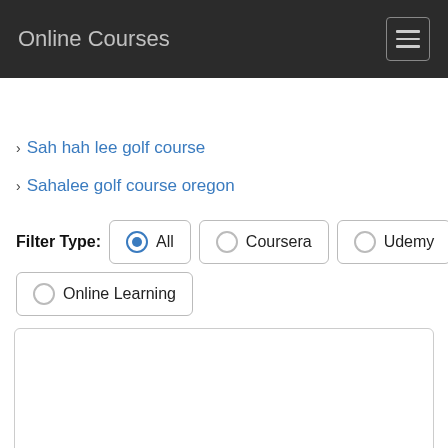Online Courses
› Sah hah lee golf course
› Sahalee golf course oregon
Filter Type: All  Coursera  Udemy  Online Learning